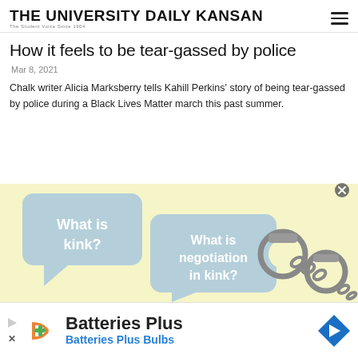THE UNIVERSITY DAILY KANSAN — The Student Voice Since 1904
How it feels to be tear-gassed by police
Mar 8, 2021
Chalk writer Alicia Marksberry tells Kahill Perkins' story of being tear-gassed by police during a Black Lives Matter march this past summer.
[Figure (illustration): Advertisement banner showing two light blue speech bubbles on a pale yellow background. Left bubble reads 'What is kink?' and right bubble reads 'What is negotiation in kink?' with an illustration of handcuffs on the right side.]
[Figure (illustration): Batteries Plus advertisement with orange and green logo, text reading 'Batteries Plus' and 'Batteries Plus Bulbs' in blue, close button, media controls, and blue navigation diamond on the right.]